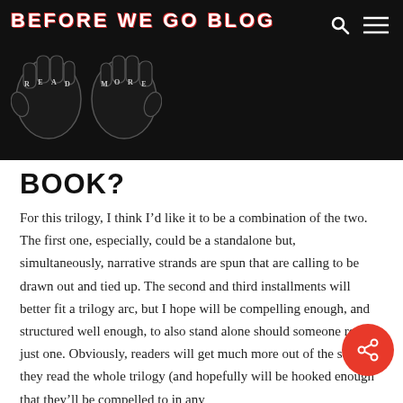BEFORE WE GO BLOG
BOOK?
For this trilogy, I think I’d like it to be a combination of the two. The first one, especially, could be a standalone but, simultaneously, narrative strands are spun that are calling to be drawn out and tied up. The second and third installments will better fit a trilogy arc, but I hope will be compelling enough, and structured well enough, to also stand alone should someone read just one. Obviously, readers will get much more out of the story if they read the whole trilogy (and hopefully will be hooked enough that they’ll be compelled to in any